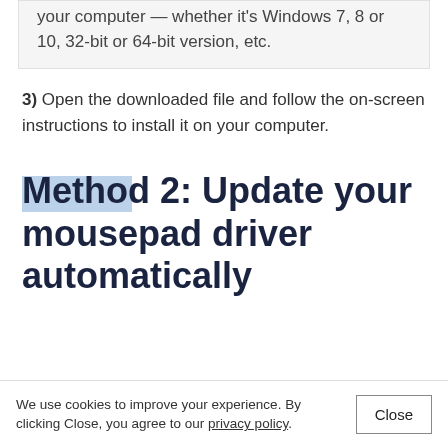your computer — whether it's Windows 7, 8 or 10, 32-bit or 64-bit version, etc.
3) Open the downloaded file and follow the on-screen instructions to install it on your computer.
Method 2: Update your mousepad driver automatically
We use cookies to improve your experience. By clicking Close, you agree to our privacy policy.